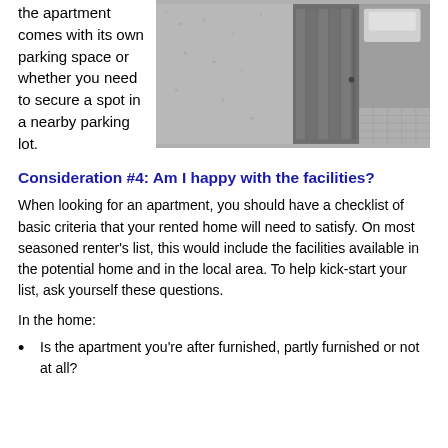the apartment comes with its own parking space or whether you need to secure a spot in a nearby parking lot.
[Figure (photo): Photo of a concrete wall next to garage doors with a paved driveway/parking area visible, car partially visible in background]
Consideration #4: Am I happy with the facilities?
When looking for an apartment, you should have a checklist of basic criteria that your rented home will need to satisfy. On most seasoned renter’s list, this would include the facilities available in the potential home and in the local area. To help kick-start your list, ask yourself these questions.
In the home:
Is the apartment you’re after furnished, partly furnished or not at all?